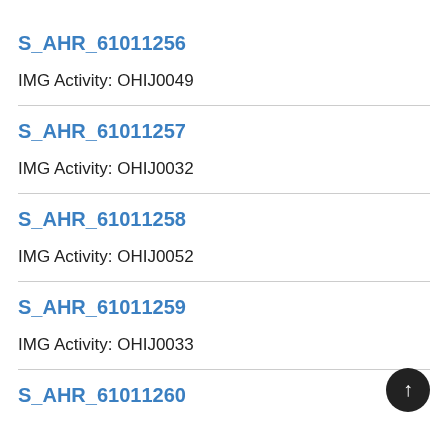S_AHR_61011256
IMG Activity: OHIJ0049
S_AHR_61011257
IMG Activity: OHIJ0032
S_AHR_61011258
IMG Activity: OHIJ0052
S_AHR_61011259
IMG Activity: OHIJ0033
S_AHR_61011260